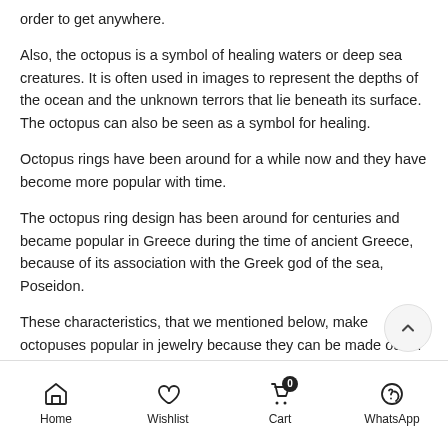order to get anywhere.
Also, the octopus is a symbol of healing waters or deep sea creatures. It is often used in images to represent the depths of the ocean and the unknown terrors that lie beneath its surface. The octopus can also be seen as a symbol for healing.
Octopus rings have been around for a while now and they have become more popular with time.
The octopus ring design has been around for centuries and became popular in Greece during the time of ancient Greece, because of its association with the Greek god of the sea, Poseidon.
These characteristics, that we mentioned below, make octopuses popular in jewelry because they can be made out of different materials and our Octopus Ring is handmade silver.
Home  Wishlist  Cart  WhatsApp